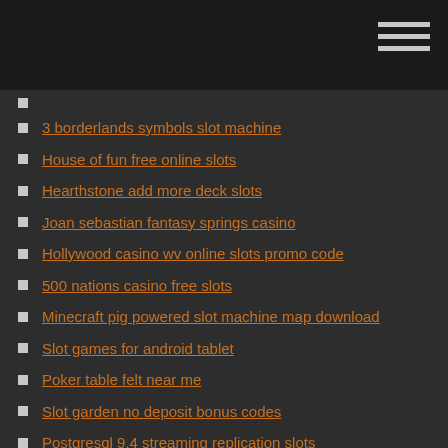3 borderlands symbols slot machine
House of fun free online slots
Hearthstone add more deck slots
Joan sebastian fantasy springs casino
Hollywood casino wv online slots promo code
500 nations casino free slots
Minecraft pig powered slot machine map download
Slot games for android tablet
Poker table felt near me
Slot garden no deposit bonus codes
Postgresql 9.4 streaming replication slots
Poker sit and go pro
Conquer online texas holdem poker